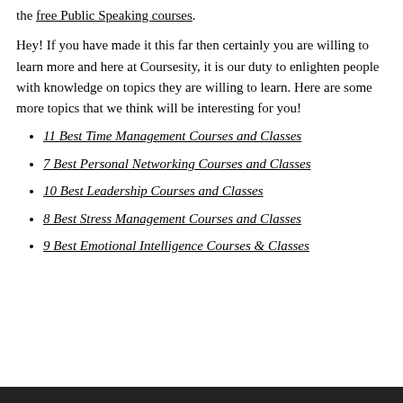the free Public Speaking courses.
Hey! If you have made it this far then certainly you are willing to learn more and here at Coursesity, it is our duty to enlighten people with knowledge on topics they are willing to learn. Here are some more topics that we think will be interesting for you!
11 Best Time Management Courses and Classes
7 Best Personal Networking Courses and Classes
10 Best Leadership Courses and Classes
8 Best Stress Management Courses and Classes
9 Best Emotional Intelligence Courses & Classes